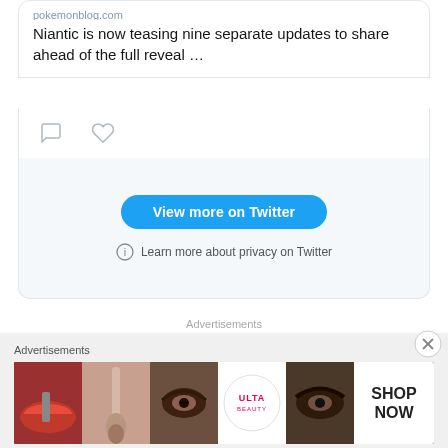pokemonblog.com
Niantic is now teasing nine separate updates to share ahead of the full reveal …
[Figure (screenshot): Twitter embedded widget footer with 'View more on Twitter' blue button and privacy info link]
Advertisements
[Figure (logo): Automattic logo in gray text]
Advertisements
[Figure (screenshot): Ulta beauty advertisement banner with makeup images and SHOP NOW call to action]